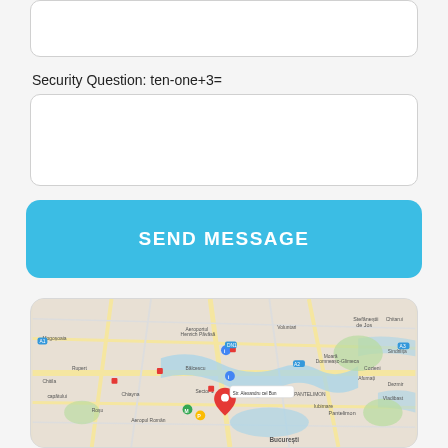[Figure (other): Textarea input field (top, partially visible)]
Security Question: ten-one+3=
[Figure (other): Text input field for security question answer]
SEND MESSAGE
[Figure (map): Google Maps screenshot showing Bucharest, Romania area with a red location pin marker and blue location markers]